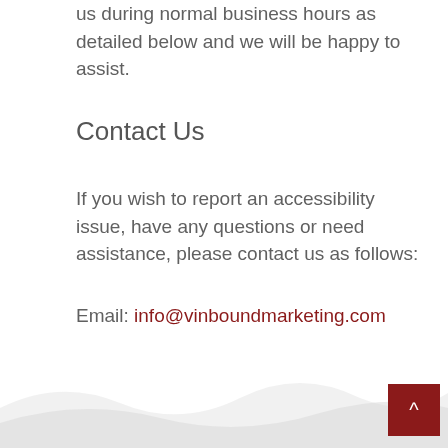us during normal business hours as detailed below and we will be happy to assist.
Contact Us
If you wish to report an accessibility issue, have any questions or need assistance, please contact us as follows:
Email: info@vinboundmarketing.com